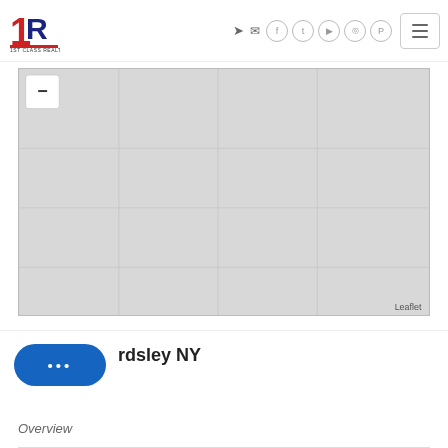1st Class Realty — navigation header with logo and social icons
[Figure (map): Leaflet map screenshot showing a gray-toned street/area map with a minus zoom button in the top-left corner and 'Leaflet' attribution in the bottom-right corner.]
rdsley NY
Overview